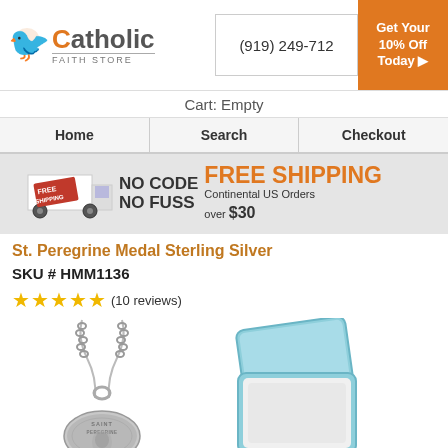[Figure (logo): Catholic Faith Store logo with bird icon and orange text]
(919) 249-712
[Figure (infographic): Orange box with text: Get Your 10% Off Today]
Cart: Empty
| Home | Search | Checkout |
| --- | --- | --- |
[Figure (infographic): Free shipping banner: NO CODE NO FUSS FREE SHIPPING Continental US Orders over $30]
St. Peregrine Medal Sterling Silver
SKU # HMM1136
★★★★★ (10 reviews)
[Figure (photo): Sterling silver Saint Peregrine medal on chain]
[Figure (photo): Light blue jewelry gift box open showing white interior]